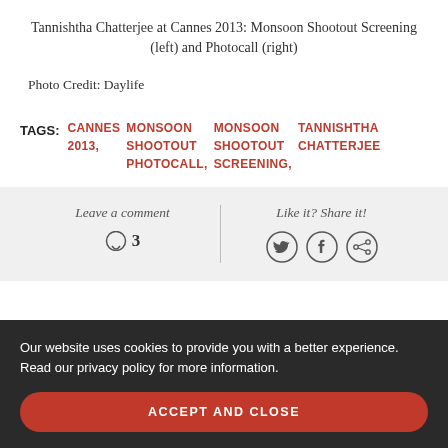Tannishtha Chatterjee at Cannes 2013: Monsoon Shootout Screening (left) and Photocall (right)
Photo Credit: Daylife
TAGS: CANNES 2013, MONSOON SHOOTOUT PHOTOCALL, MONSOON SHOOTOUT SCREENING, TANNISHTHA CHATTERJEE
Leave a comment  3
Like it? Share it!
Our website uses cookies to provide you with a better experience. Read our privacy policy for more information.
ACCEPT AND CLOSE